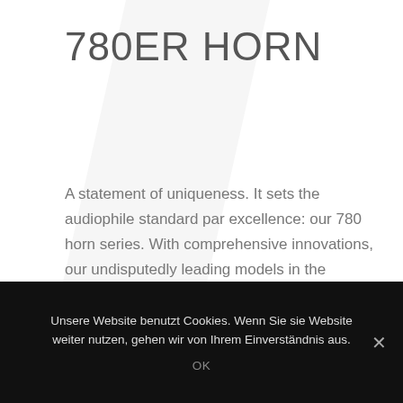780ER HORN
A statement of uniqueness. It sets the audiophile standard par excellence: our 780 horn series. With comprehensive innovations, our undisputedly leading models in the premium segment are now going to take the next step. Their irrefutable highlight is the world's largest hyperspherical horn offering 780 mm of diameter. It performs  the midrange over five octaves, has an ideal
Unsere Website benutzt Cookies. Wenn Sie sie Website weiter nutzen, gehen wir von Ihrem Einverständnis aus.
OK